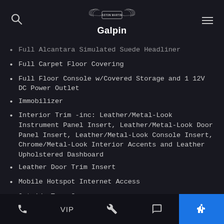Aston Martin Galpin
Full Alcantara Simulated Suede Headliner
Full Carpet Floor Covering
Full Floor Console w/Covered Storage and 1 12V DC Power Outlet
Immobilizer
Interior Trim -inc: Leather/Metal-Look Instrument Panel Insert, Leather/Metal-Look Door Panel Insert, Leather/Metal-Look Console Insert, Chrome/Metal-Look Interior Accents and Leather Upholstered Dashboard
Leather Door Trim Insert
Mobile Hotspot Internet Access
Outside Temp Gauge
Phone | VIP | Wrench | Chat | Accessibility